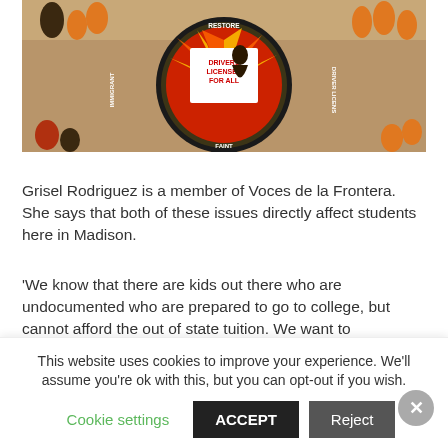[Figure (photo): Aerial view of protesters gathered around a large circular banner reading 'Restore Immigrant Driver Licenses For All' with a figure holding signs, surrounded by people in orange shirts]
Grisel Rodriguez is a member of Voces de la Frontera. She says that both of these issues directly affect students here in Madison.
'We know that there are kids out there who are undocumented who are prepared to go to college, but cannot afford the out of state tuition. We want to
This website uses cookies to improve your experience. We'll assume you're ok with this, but you can opt-out if you wish.
Cookie settings    ACCEPT    Reject